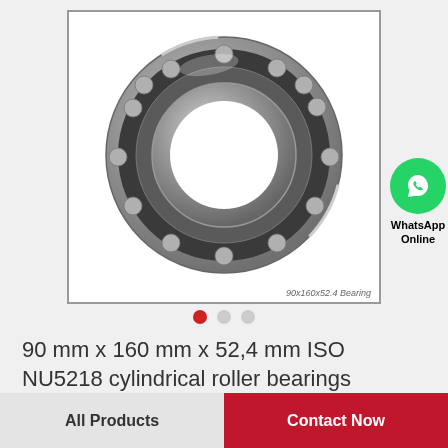[Figure (photo): Cylindrical roller bearing shown in a framed white box, with watermark text '90x160x52.4 Bearing'. A WhatsApp green circle icon with phone handset and text 'WhatsApp Online' appears to the right.]
90 mm x 160 mm x 52,4 mm ISO NU5218 cylindrical roller bearings
All Products
Contact Now